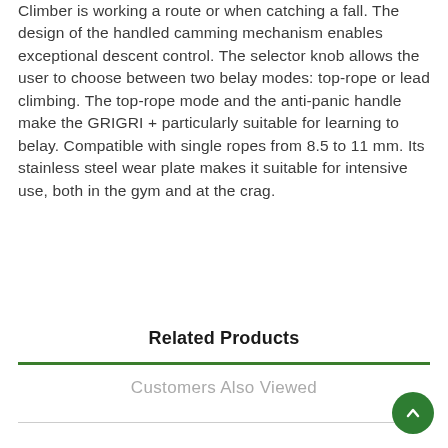Climber is working a route or when catching a fall. The design of the handled camming mechanism enables exceptional descent control. The selector knob allows the user to choose between two belay modes: top-rope or lead climbing. The top-rope mode and the anti-panic handle make the GRIGRI + particularly suitable for learning to belay. Compatible with single ropes from 8.5 to 11 mm. Its stainless steel wear plate makes it suitable for intensive use, both in the gym and at the crag.
Related Products
Customers Also Viewed